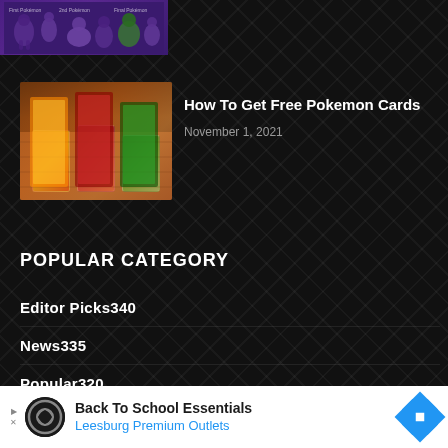[Figure (photo): Pokemon themed image at the top with purple background and pokemon characters]
[Figure (photo): Photo of Pokemon card stacks in plastic holders on a wooden surface]
How To Get Free Pokemon Cards
November 1, 2021
POPULAR CATEGORY
Editor Picks340
News335
Popular320
Facts311
Must Read309
[Figure (infographic): Advertisement banner: Back To School Essentials - Leesburg Premium Outlets]